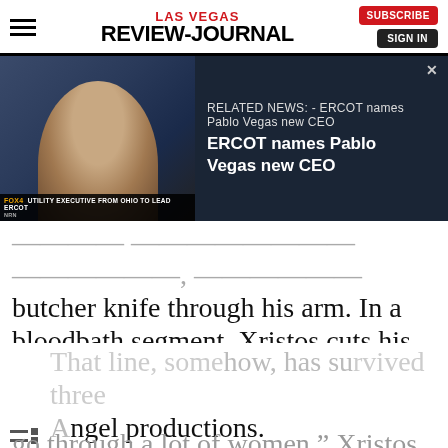LAS VEGAS REVIEW-JOURNAL
[Figure (screenshot): Video thumbnail showing a man in a suit with FOX4 lower third reading 'UTILITY EXECUTIVE FROM OHIO TO LEAD ERCOT', alongside Related News panel: 'RELATED NEWS: - ERCOT names Pablo Vegas new CEO']
butcher knife through his arm. In a bloodbath segment, Xristos cuts his female sidekick in two with a giant electric saw. “I go through a lot of women,” Xristos tells the crowd, “but I always keep the lower part.
By continuing to browse or by clicking “I Accept Cookies” you agree to the storing of first-party and third-party cookies on your device. By agreeing to the use of cookies on our site, you direct us to disclose your personal information to our third party service providers for the purposes for which we collect your information.
That line, somehow, has survived three Angel productions.